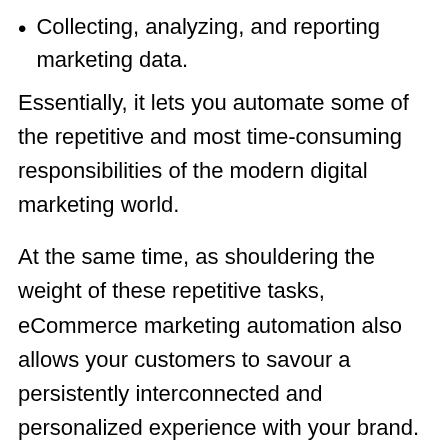Collecting, analyzing, and reporting marketing data.
Essentially, it lets you automate some of the repetitive and most time-consuming responsibilities of the modern digital marketing world.
At the same time, as shouldering the weight of these repetitive tasks, eCommerce marketing automation also allows your customers to savour a persistently interconnected and personalized experience with your brand.